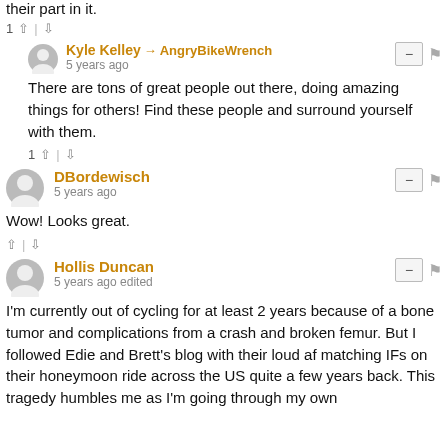their part in it.
1 ↑ | ↓
Kyle Kelley → AngryBikeWrench
5 years ago
There are tons of great people out there, doing amazing things for others! Find these people and surround yourself with them.
1 ↑ | ↓
DBordewisch
5 years ago
Wow! Looks great.
↑ | ↓
Hollis Duncan
5 years ago edited
I'm currently out of cycling for at least 2 years because of a bone tumor and complications from a crash and broken femur. But I followed Edie and Brett's blog with their loud af matching IFs on their honeymoon ride across the US quite a few years back. This tragedy humbles me as I'm going through my own